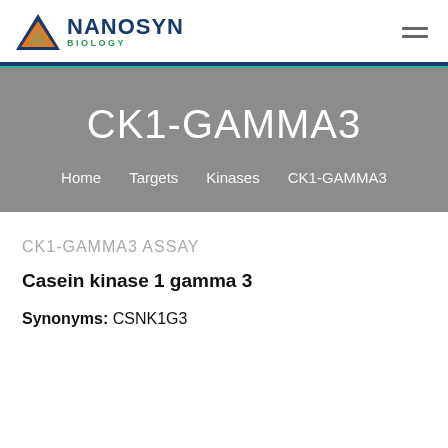[Figure (logo): Nanosyn Biology logo with orange triangle icon and navy/green text]
CK1-GAMMA3
Home | Targets | Kinases | CK1-GAMMA3
CK1-GAMMA3 ASSAY
Casein kinase 1 gamma 3
Synonyms: CSNK1G3